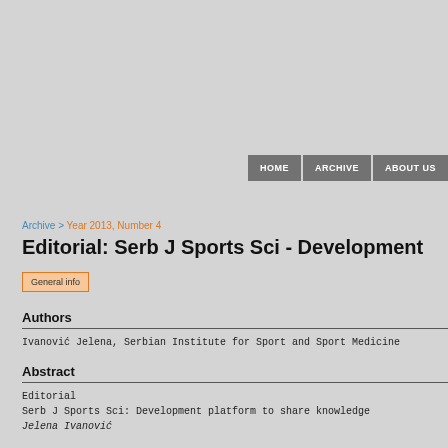HOME | ARCHIVE | ABOUT US
Archive > Year 2013, Number 4
Editorial: Serb J Sports Sci - Development...
General info
Authors
Ivanović Jelena, Serbian Institute for Sport and Sport Medicine
Abstract
Editorial
Serb J Sports Sci: Development platform to share knowledge
Jelena Ivanović